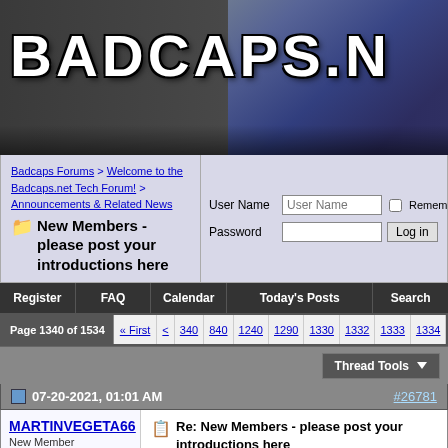[Figure (screenshot): Badcaps.net forum website banner with large distressed white text logo on dark gray background, with capacitors image on right]
Badcaps Forums > Welcome to the Badcaps.net Tech Forum! > Announcements & Related News
New Members - please post your introductions here
User Name  Password  Remember Me?  Log in
Register  FAQ  Calendar  Today's Posts  Search
Page 1340 of 1534  « First  <  340  840  1240  1290  1330  1332  1333  1334  1335
Thread Tools
07-20-2021, 01:01 AM  #26781
MARTINVEGETA66
New Member
Re: New Members - please post your introductions here
Hi, my name is Juan and I am a new member, I am from Mexico city and I like to fix